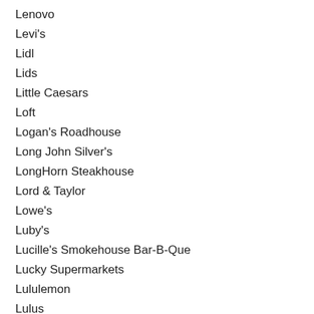Lenovo
Levi's
Lidl
Lids
Little Caesars
Loft
Logan's Roadhouse
Long John Silver's
LongHorn Steakhouse
Lord & Taylor
Lowe's
Luby's
Lucille's Smokehouse Bar-B-Que
Lucky Supermarkets
Lululemon
Lulus
Lupe Tortilla
Luxomobile